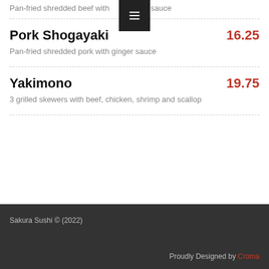Pan-fried shredded beef with sauce
Pork Shogayaki  16.25
Pan-fried shredded pork with ginger sauce
Yakimono  19.75
3 grilled skewers with beef, chicken, shrimp and scallop
Sakura Sushi © (2022)   Proudly Designed by Croma